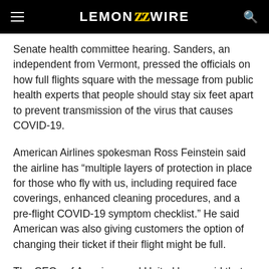LEMON ZZ WIRE
Senate health committee hearing. Sanders, an independent from Vermont, pressed the officials on how full flights square with the message from public health experts that people should stay six feet apart to prevent transmission of the virus that causes COVID-19.
American Airlines spokesman Ross Feinstein said the airline has “multiple layers of protection in place for those who fly with us, including required face coverings, enhanced cleaning procedures, and a pre-flight COVID-19 symptom checklist.” He said American was also giving customers the option of changing their ticket if their flight might be full.
The CEOs of American and United have said that even with middle seats empty, it is impossible to follow 6-foot social